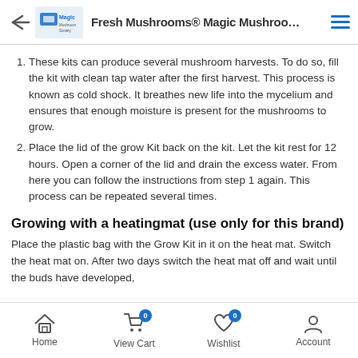Fresh Mushrooms® Magic Mushroo...
These kits can produce several mushroom harvests. To do so, fill the kit with clean tap water after the first harvest. This process is known as cold shock. It breathes new life into the mycelium and ensures that enough moisture is present for the mushrooms to grow.
Place the lid of the grow Kit back on the kit. Let the kit rest for 12 hours. Open a corner of the lid and drain the excess water. From here you can follow the instructions from step 1 again. This process can be repeated several times.
Growing with a heatingmat (use only for this brand)
Place the plastic bag with the Grow Kit in it on the heat mat. Switch the heat mat on. After two days switch the heat mat off and wait until the buds have developed,
Home   View Cart   Wishlist   Account